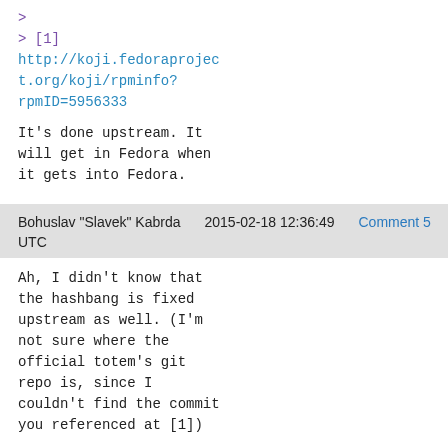>
> [1]
http://koji.fedoraproject.org/koji/rpminfo?rpmID=5956333
It's done upstream. It will get in Fedora when it gets into Fedora.
Bohuslav "Slavek" Kabrda   2015-02-18 12:36:49   Comment 5
UTC
Ah, I didn't know that the hashbang is fixed upstream as well. (I'm not sure where the official totem's git repo is, since I couldn't find the commit you referenced at [1])

Thanks a lot.

[1]